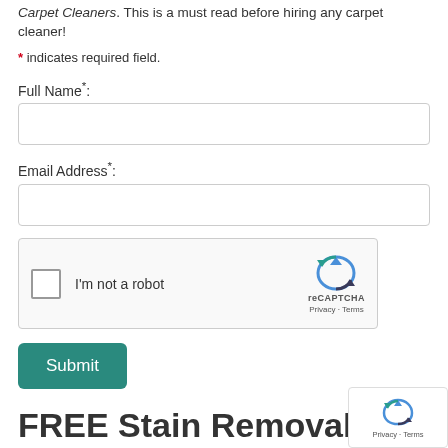Carpet Cleaners. This is a must read before hiring any carpet cleaner!
* indicates required field.
Full Name*:
Email Address*:
[Figure (other): reCAPTCHA widget with checkbox labeled 'I'm not a robot' and reCAPTCHA logo with Privacy and Terms links]
Submit
FREE Stain Removal Report
Find out which stains are removable from carpets and rugs with this free report!
[Figure (other): Floating reCAPTCHA badge with logo and Privacy · Terms links]